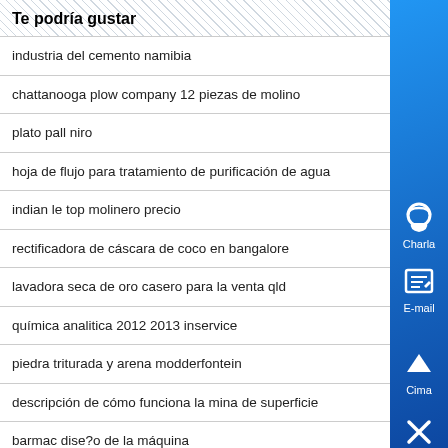Te podría gustar
industria del cemento namibia
chattanooga plow company 12 piezas de molino
plato pall niro
hoja de flujo para tratamiento de purificación de agua
indian le top molinero precio
rectificadora de cáscara de coco en bangalore
lavadora seca de oro casero para la venta qld
química analitica 2012 2013 inservice
piedra triturada y arena modderfontein
descripción de cómo funciona la mina de superficie
barmac dise?o de la máquina
costo para procesar oro
5 factores que dificultan el desarrollo minero
tiempo babupur, satna
fae soil s ilizer para la venta